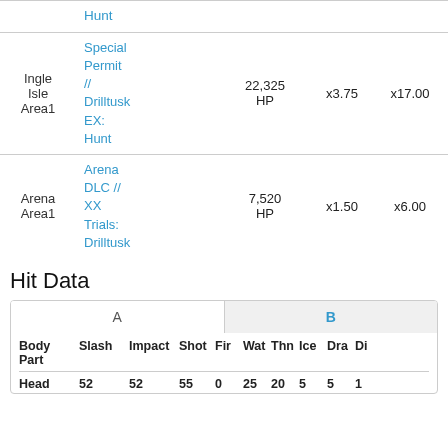| Location | Quest | HP | x1 | x2 | x3 | x4 |
| --- | --- | --- | --- | --- | --- | --- |
| Ingle Isle Area1 | Special Permit // Drilltusk EX: Hunt | 22,325 HP | x3.75 | x17.00 | x0.70 | x2.80 |
| Arena Area1 | Arena DLC // XX Trials: Drilltusk | 7,520 HP | x1.50 | x6.00 | x0.85 | x1.15 |
Hit Data
| Body Part | Slash | Impact | Shot | Fir | Wat | Thn | Ice | Dra | Di |
| --- | --- | --- | --- | --- | --- | --- | --- | --- | --- |
| Head | 52 | 52 | 55 | 0 | 25 | 20 | 5 | 5 | 1 |